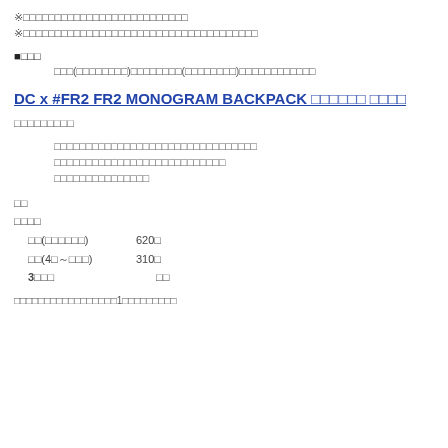※□□□□□□□□□□□□□□□□□□□□□□□□□□
※□□□□□□□□□□□□□□□□□□□□□□□□□□□□□□□□□□□□□
■□□□
□□□(□□□□□□□□)□□□□□□□□(□□□□□□□□)□□□□□□□□□□□□
DC x #FR2 FR2 MONOGRAM BACKPACK □□□□□□ □□□□
□□□□□□□□□
□□□□□□□□□□□□□□□□□□□□□□□□□□□□□□□□
□□□□□□□□□□□□□□□□□□□□□□□□□□□
□□□□□□□□□□□□□□□
□□
□□□□
□□(□□□□□□)  620□
□□(4□～□□□)  310□
3□□□        □□
□□□□□□□□□□□□□□□□□1□□□□□□□□□